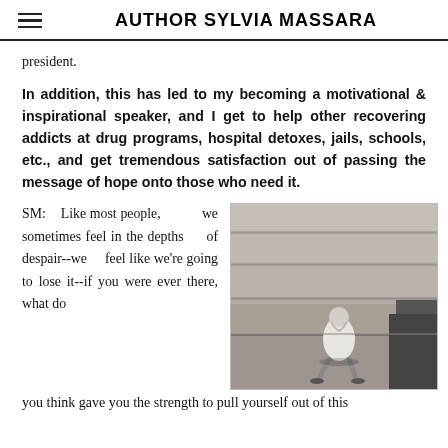AUTHOR SYLVIA MASSARA
president.
In addition, this has led to my becoming a motivational & inspirational speaker, and I get to help other recovering addicts at drug programs, hospital detoxes, jails, schools, etc., and get tremendous satisfaction out of passing the message of hope onto those who need it.
SM:  Like most people, we sometimes feel in the depths of despair--we feel like we're going to lose it--if you were ever there, what do you think gave you the strength to pull yourself out of this
[Figure (photo): Black and white photograph of a person sitting hunched on concrete steps, appearing distressed, with large stone staircase in background.]
you think gave you the strength to pull yourself out of this